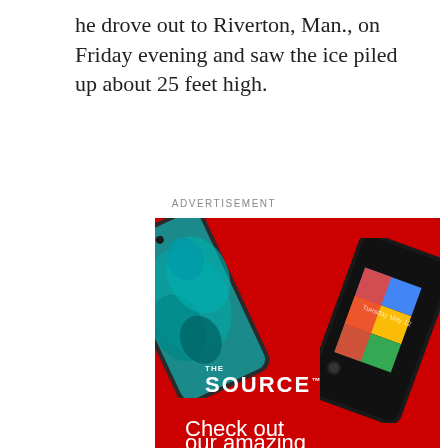he drove out to Riverton, Man., on Friday evening and saw the ice piled up about 25 feet high.
ADVERTISEMENT
[Figure (photo): The Source advertisement featuring two smartphones — a Samsung Galaxy (left, teal floral wallpaper) and a Google Pixel (right, showing Google logo in color) — on a red background with 'THE SOURCE' branding and text 'Check out our amazing']